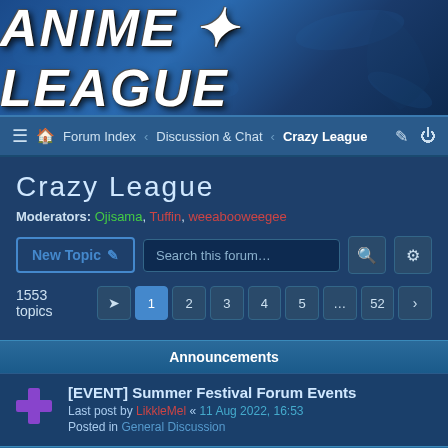[Figure (logo): Anime League banner with large white bold italic text 'ANIME LEAGUE' with decorative star/kanji symbol between words, on blue ocean-themed background with fish silhouettes]
≡ 🏠 Forum Index < Discussion & Chat < Crazy League
Crazy League
Moderators: Ojisama, Tuffin, weeabooweegee
New Topic | Search this forum…
1553 topics  1 2 3 4 5 … 52 >
Announcements
[EVENT] Summer Festival Forum Events
Last post by LikkleMel « 11 Aug 2022, 16:53
Posted in General Discussion
Topics
[EVENT] CL Summer Spam War
Last post by Ojisama « Today, 18:59
Replies 43